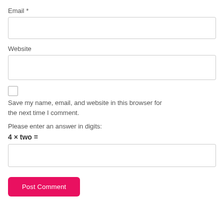Email *
Website
Save my name, email, and website in this browser for the next time I comment.
Please enter an answer in digits:
Post Comment